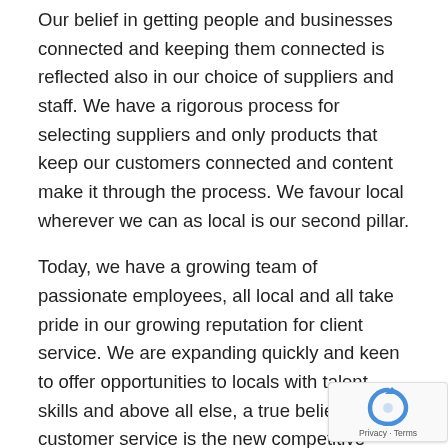Our belief in getting people and businesses connected and keeping them connected is reflected also in our choice of suppliers and staff. We have a rigorous process for selecting suppliers and only products that keep our customers connected and content make it through the process. We favour local wherever we can as local is our second pillar.
Today, we have a growing team of passionate employees, all local and all take pride in our growing reputation for client service. We are expanding quickly and keen to offer opportunities to locals with talent, skills and above all else, a true belief that customer service is the new competitive advantage in the telco space.
[Figure (other): Google reCAPTCHA badge with recycling-style arrow icon and 'Privacy - Terms' text]